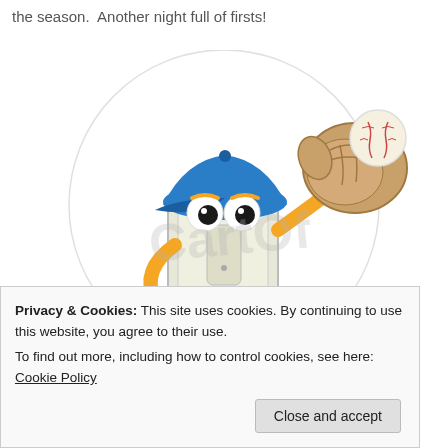the season.  Another night full of firsts!
[Figure (illustration): Cartoon illustration of an anthropomorphized electrical light switch character wearing a blue baseball cap and holding a baseball glove with a baseball in it, standing on orange feet. A watermark logo is overlaid on the image.]
Privacy & Cookies: This site uses cookies. By continuing to use this website, you agree to their use.
To find out more, including how to control cookies, see here: Cookie Policy
Close and accept